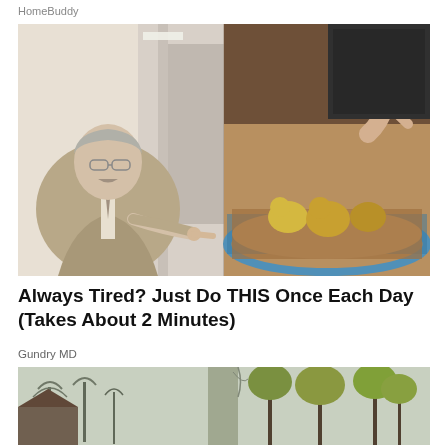HomeBuddy
[Figure (photo): Composite image: left side shows an older man in a suit and glasses pointing at something; right side shows baby chicks/small animals in sandy substrate being held by a hand]
Always Tired? Just Do THIS Once Each Day (Takes About 2 Minutes)
Gundry MD
[Figure (photo): Outdoor scene with bare trees and green-leafed trees, appears to show a building or cabin]